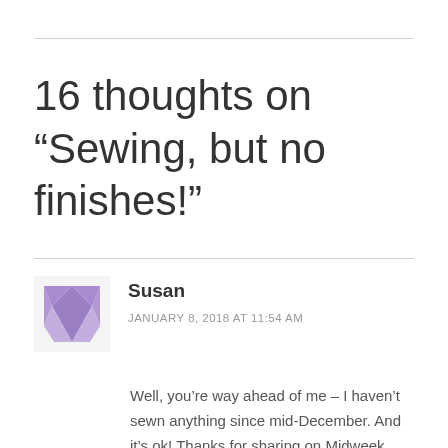16 thoughts on “Sewing, but no finishes!”
Susan
JANUARY 8, 2018 AT 11:54 AM
Well, you’re way ahead of me – I haven’t sewn anything since mid-December. And it’s ok! Thanks for sharing on Midweek Makers